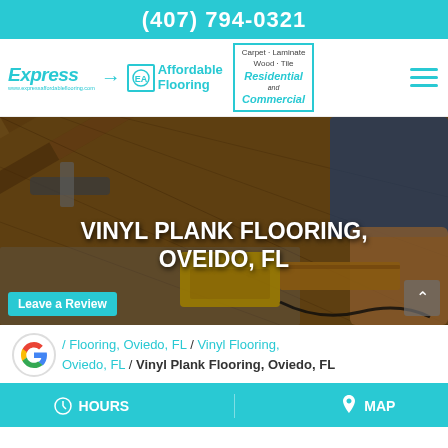(407) 794-0321
[Figure (logo): Express Affordable Flooring logo with arrow, small square badge, and services box listing Carpet, Laminate, Wood, Tile, Residential and Commercial]
[Figure (photo): Worker installing wood/vinyl plank flooring with a mallet and staple gun visible on the floor]
VINYL PLANK FLOORING, OVEIDO, FL
Leave a Review
/ Flooring, Oviedo, FL / Vinyl Flooring, Oviedo, FL / Vinyl Plank Flooring, Oviedo, FL
HOURS   MAP